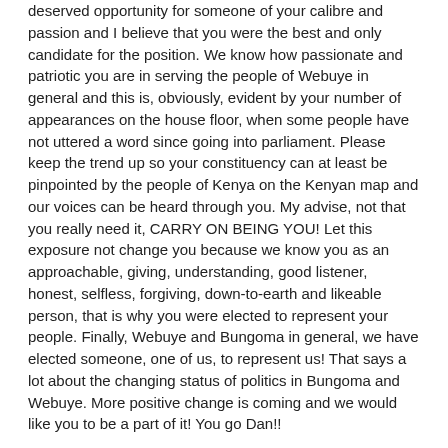deserved opportunity for someone of your calibre and passion and I believe that you were the best and only candidate for the position. We know how passionate and patriotic you are in serving the people of Webuye in general and this is, obviously, evident by your number of appearances on the house floor, when some people have not uttered a word since going into parliament. Please keep the trend up so your constituency can at least be pinpointed by the people of Kenya on the Kenyan map and our voices can be heard through you. My advise, not that you really need it, CARRY ON BEING YOU! Let this exposure not change you because we know you as an approachable, giving, understanding, good listener, honest, selfless, forgiving, down-to-earth and likeable person, that is why you were elected to represent your people. Finally, Webuye and Bungoma in general, we have elected someone, one of us, to represent us! That says a lot about the changing status of politics in Bungoma and Webuye. More positive change is coming and we would like you to be a part of it! You go Dan!!
Your biggest fan and follower.
Reply